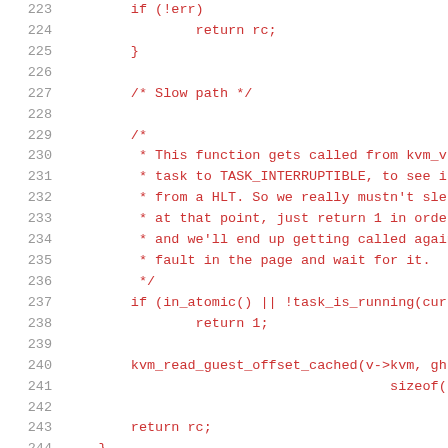Source code listing lines 223-244, C code with syntax highlighting showing slow path logic in a KVM function